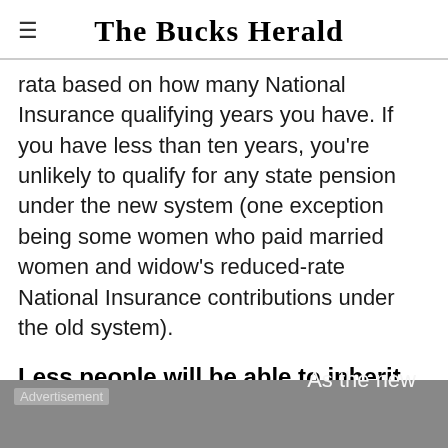The Bucks Herald
rata based on how many National Insurance qualifying years you have. If you have less than ten years, you're unlikely to qualify for any state pension under the new system (one exception being some women who paid married women and widow's reduced-rate National Insurance contributions under the old system).
Less people will be able to inherit their partner's pension
As the new